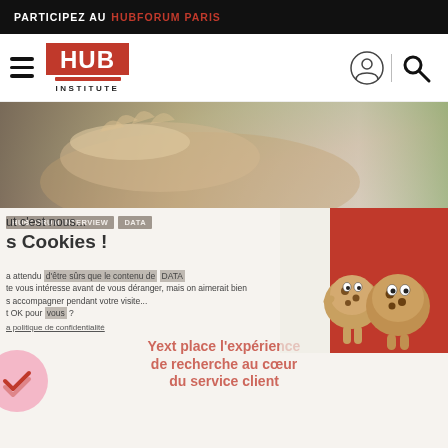PARTICIPEZ AU HUBFORUM PARIS
[Figure (logo): HUB Institute logo with red box and INSTITUTE text below]
[Figure (photo): Hero image of an outstretched hand against blurred green background]
ut c'est nous... s Cookies !
a attendu d'être sûrs que le contenu de te vous intéresse avant de vous déranger, mais on aimerait bien s accompagner pendant votre visite... t OK pour vous ?
a politique de confidentialité
[Figure (illustration): Two cookie cartoon characters on red background]
Yext place l'expérience de recherche au cœur du service client
Consentements certifiés par axeptio
Non merci
Je choisis
OK pour moi